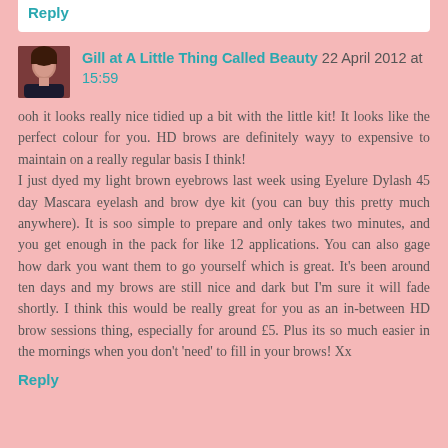Reply
Gill at A Little Thing Called Beauty 22 April 2012 at 15:59
ooh it looks really nice tidied up a bit with the little kit! It looks like the perfect colour for you. HD brows are definitely wayy to expensive to maintain on a really regular basis I think!
I just dyed my light brown eyebrows last week using Eyelure Dylash 45 day Mascara eyelash and brow dye kit (you can buy this pretty much anywhere). It is soo simple to prepare and only takes two minutes, and you get enough in the pack for like 12 applications. You can also gage how dark you want them to go yourself which is great. It's been around ten days and my brows are still nice and dark but I'm sure it will fade shortly. I think this would be really great for you as an in-between HD brow sessions thing, especially for around £5. Plus its so much easier in the mornings when you don't 'need' to fill in your brows! Xx
Reply